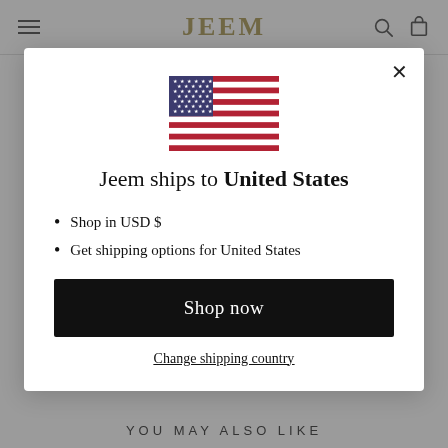JEEM
[Figure (screenshot): US flag icon displayed inside modal]
Jeem ships to United States
Shop in USD $
Get shipping options for United States
Shop now
Change shipping country
YOU MAY ALSO LIKE